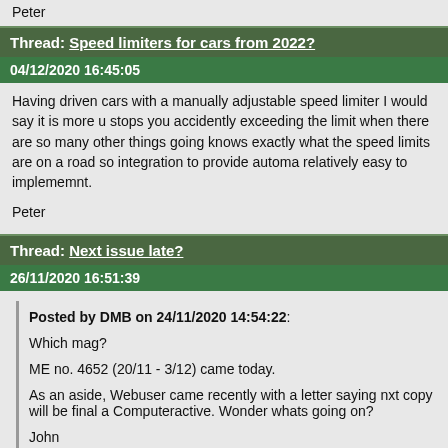Peter
Thread: Speed limiters for cars from 2022?
04/12/2020 16:45:05
Having driven cars with a manually adjustable speed limiter I would say it is more u... stops you accidently exceeding the limit when there are so many other things going... knows exactly what the speed limits are on a road so integration to provide automa... relatively easy to implememnt.
Peter
Thread: Next issue late?
26/11/2020 16:51:39
Posted by DMB on 24/11/2020 14:54:22:
Which mag?
ME no. 4652 (20/11 - 3/12) came today.
As an aside, Webuser came recently with a letter saying nxt copy will be final a... Computeractive. Wonder whats going on?
John
Computer Shopper from the same stable is also ending with readers being transfer...
Peter